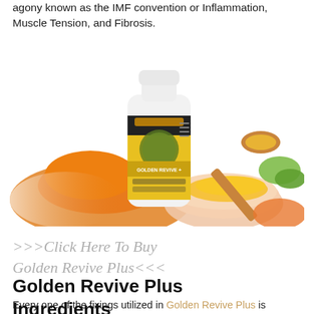agony known as the IMF convention or Inflammation, Muscle Tension, and Fibrosis.
[Figure (photo): Product photo of Golden Revive Plus supplement bottle with yellow and dark label, surrounded by orange turmeric powder piles, a wooden scoop with yellow powder, a bowl with powder, and green vegetable pieces on white background.]
>>>Click Here To Buy Golden Revive Plus<<<
Golden Revive Plus Ingredients
Every one of the fixings utilized in Golden Revive Plus is demonstrated to treat every